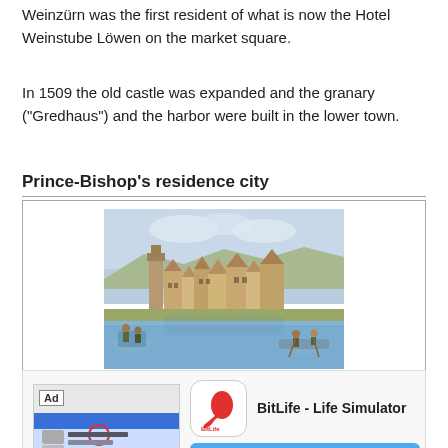Weinzürn was the first resident of what is now the Hotel Weinstube Löwen on the market square.
In 1509 the old castle was expanded and the granary ("Gredhaus") and the harbor were built in the lower town.
Prince-Bishop's residence city
[Figure (illustration): Historical painting of Meersburg as it was built in 1750, showing a riverside town with buildings, boats and figures in the foreground.]
Meersburg as it was built in 1750 in the left ceiling painting of the Baitenhausen pilgrimage church
1526 the episcopal court of Bishop Hugo von
[Figure (screenshot): Advertisement banner showing BitLife - Life Simulator app ad with an INSTALL! button]